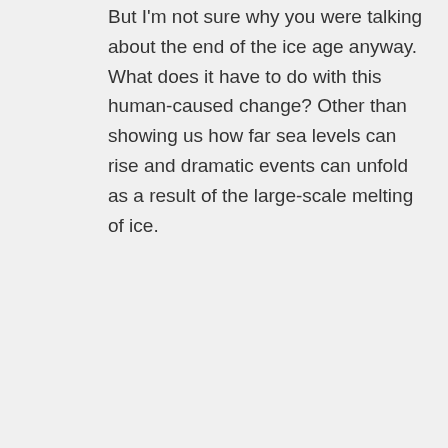But I'm not sure why you were talking about the end of the ice age anyway. What does it have to do with this human-caused change? Other than showing us how far sea levels can rise and dramatic events can unfold as a result of the large-scale melting of ice.
azleader on July 18, 2017 at 10:47 pm
Never make statements that cannot be back up with real peer-reviewed evidence from credible sources.
That being said, two studies…